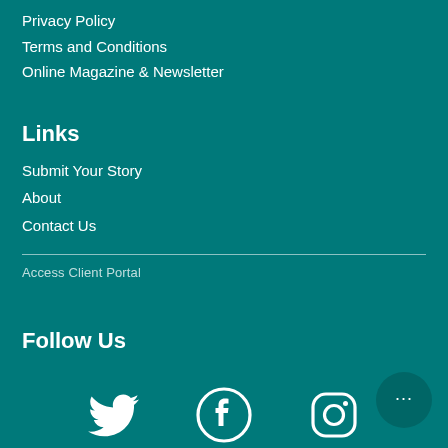Privacy Policy
Terms and Conditions
Online Magazine & Newsletter
Links
Submit Your Story
About
Contact Us
Access Client Portal
Follow Us
[Figure (illustration): Social media icons: Twitter bird, Facebook circle logo, Instagram camera logo]